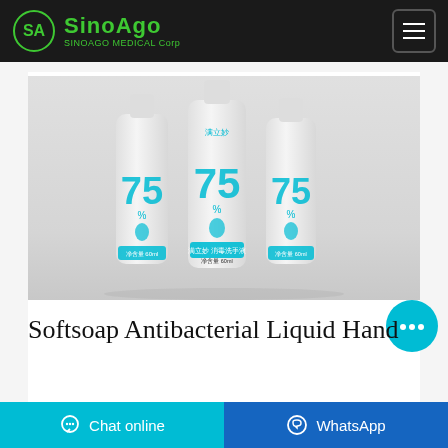SinoAgo SINOAGO MEDICAL Corp
[Figure (photo): Three white squeeze tubes labeled with '75' and a water drop icon, featuring teal/cyan text and branding. Product appears to be a 75% alcohol antibacterial hand sanitizer or softsoap in tube packaging, displayed against a light grey background.]
[Figure (other): Teal circular chat button with three dots (ellipsis) icon]
Softsoap Antibacterial Liquid Hand
Chat online
WhatsApp